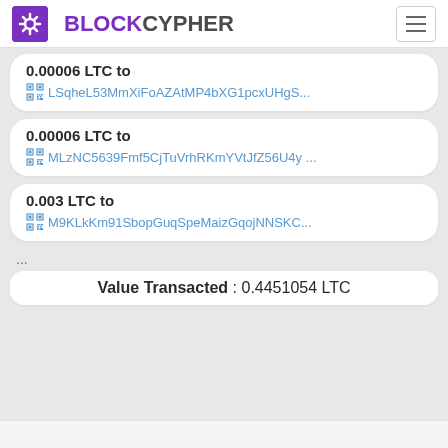BLOCKCYPHER
0.00006 LTC to LSqheL53MmXiFoAZAtMP4bXG1pcxUHgS...
0.00006 LTC to MLzNC5639Fmf5CjTuVrhRKmYVtJfZ56U4y ...
0.003 LTC to M9KLkKm91SbopGuqSpeMaizGqojNNSKC...
...
Value Transacted : 0.4451054 LTC